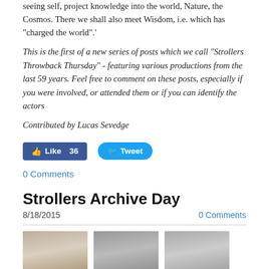seeing self, project knowledge into the world, Nature, the Cosmos. There we shall also meet Wisdom, i.e. which has "charged the world".'
This is the first of a new series of posts which we call "Strollers Throwback Thursday" - featuring various productions from the last 59 years. Feel free to comment on these posts, especially if you were involved, or attended them or if you can identify the actors
Contributed by Lucas Sevedge
[Figure (other): Social sharing buttons: Facebook Like (36) and Twitter Tweet]
0 Comments
Strollers Archive Day
8/18/2015   0 Comments
[Figure (photo): Three thumbnail photos of people]